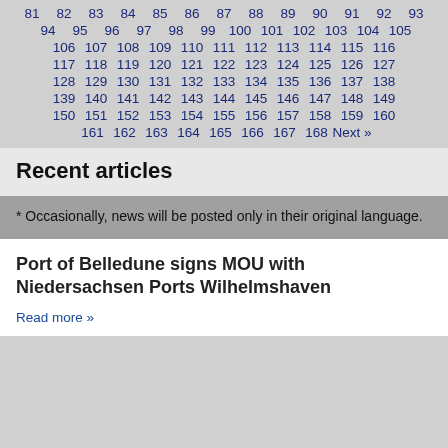81 82 83 84 85 86 87 88 89 90 91 92 93
94 95 96 97 98 99 100 101 102 103 104 105
106 107 108 109 110 111 112 113 114 115 116
117 118 119 120 121 122 123 124 125 126 127
128 129 130 131 132 133 134 135 136 137 138
139 140 141 142 143 144 145 146 147 148 149
150 151 152 153 154 155 156 157 158 159 160
161 162 163 164 165 166 167 168 Next »
Recent articles
* Occasionally, news will be posted only in their original language.
Port of Belledune signs MOU with Niedersachsen Ports Wilhelmshaven
Read more »